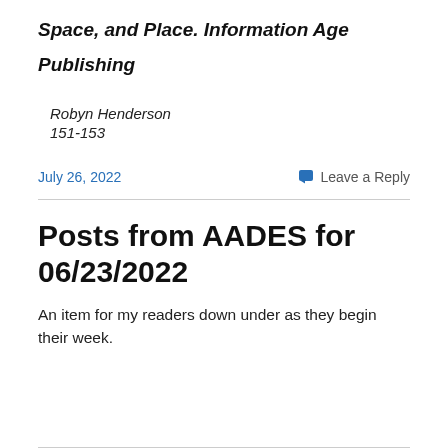Space, and Place. Information Age Publishing
Robyn Henderson
151-153
July 26, 2022
Leave a Reply
Posts from AADES for 06/23/2022
An item for my readers down under as they begin their week.